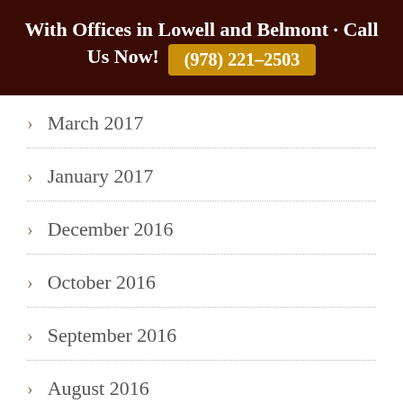With Offices in Lowell and Belmont · Call Us Now! (978) 221-2503
March 2017
January 2017
December 2016
October 2016
September 2016
August 2016
July 2016
May 2016